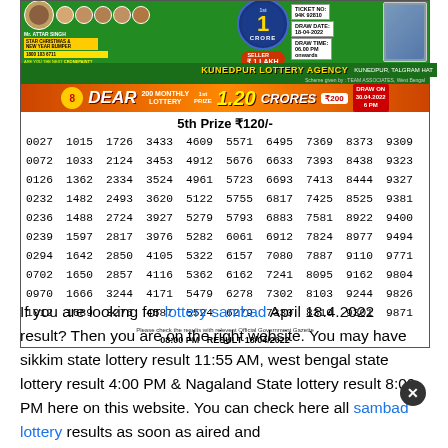[Figure (infographic): Lottery ticket banner for Dear 200 Monthly Lottery with 1 Crore prize, ticket no 94K 92810, draw date 18-04-2022, draw time 06:00 PM onwards, seller 1 Lakh, Kunedpur Lottery Agency]
5th Prize ₹120/-
| 0027 | 1015 | 1726 | 3433 | 4609 | 5571 | 6495 | 7369 | 8373 | 9309 |
| 0072 | 1033 | 2124 | 3453 | 4912 | 5676 | 6633 | 7393 | 8438 | 9323 |
| 0126 | 1362 | 2334 | 3524 | 4961 | 5723 | 6693 | 7413 | 8444 | 9327 |
| 0232 | 1482 | 2493 | 3620 | 5122 | 5755 | 6817 | 7425 | 8525 | 9381 |
| 0236 | 1488 | 2724 | 3927 | 5279 | 5793 | 6883 | 7581 | 8922 | 9400 |
| 0239 | 1597 | 2817 | 3976 | 5282 | 6061 | 6912 | 7824 | 8977 | 9494 |
| 0294 | 1642 | 2850 | 4105 | 5322 | 6157 | 7080 | 7887 | 9110 | 9771 |
| 0702 | 1650 | 2857 | 4116 | 5362 | 6162 | 7241 | 8095 | 9162 | 9804 |
| 0970 | 1666 | 3244 | 4171 | 5479 | 6278 | 7302 | 8103 | 9244 | 9826 |
| 1012 | 1689 | 3276 | 4587 | 5524 | 6279 | 7330 | 8310 | 9301 | 9871 |
Please check the results with relevent Official Government Gazette
08:00 PM  RESULT 18/04/2022
If you are looking for lottery sambad April 18.4.2022 result? Then you are on the right website. You may have sikkim state lottery result 11:55 AM, west bengal state lottery result 4:00 PM & Nagaland State lottery result 8:00 PM here on this website. You can check here all sambad lottery results as soon as aired and